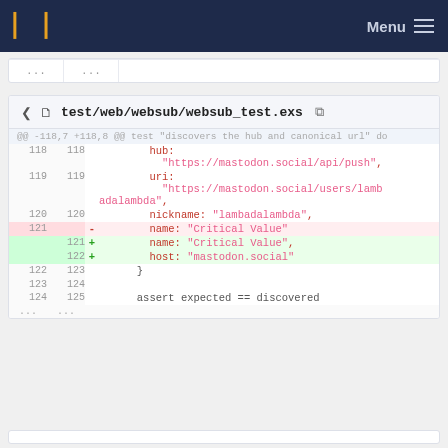Menu
[Figure (screenshot): Top stub row showing ellipsis placeholder lines]
[Figure (screenshot): Diff view of test/web/websub/websub_test.exs showing lines 118-125 with one removed line (name: 'Critical Value') and two added lines (name: 'Critical Value', and host: 'mastodon.social')]
[Figure (screenshot): Bottom partial stub row]